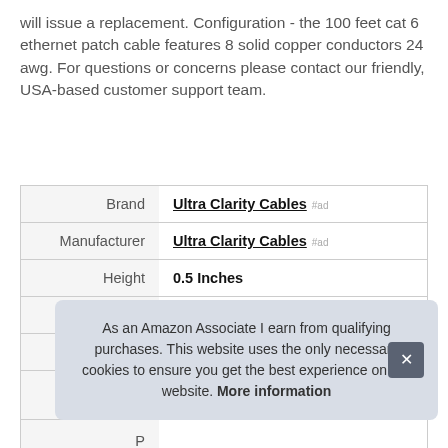will issue a replacement. Configuration - the 100 feet cat 6 ethernet patch cable features 8 solid copper conductors 24 awg. For questions or concerns please contact our friendly, USA-based customer support team.
|  |  |
| --- | --- |
| Brand | Ultra Clarity Cables #ad |
| Manufacturer | Ultra Clarity Cables #ad |
| Height | 0.5 Inches |
| Length | 6.5 Inches |
| Weight | 1.79 Pounds |
| P |  |
As an Amazon Associate I earn from qualifying purchases. This website uses the only necessary cookies to ensure you get the best experience on our website. More information